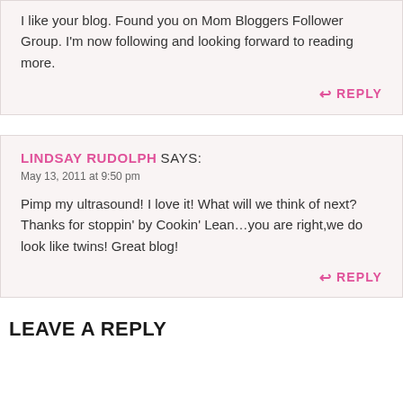I like your blog. Found you on Mom Bloggers Follower Group. I'm now following and looking forward to reading more.
REPLY
LINDSAY RUDOLPH SAYS:
May 13, 2011 at 9:50 pm
Pimp my ultrasound! I love it! What will we think of next? Thanks for stoppin' by Cookin' Lean…you are right,we do look like twins! Great blog!
REPLY
LEAVE A REPLY